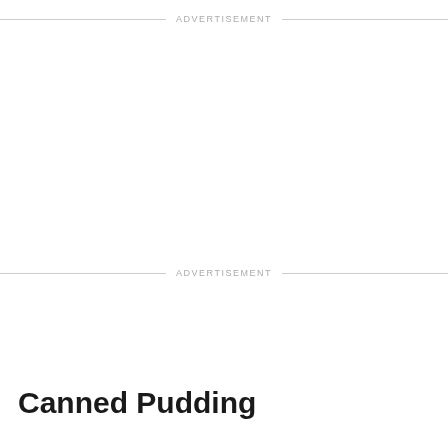ADVERTISEMENT
ADVERTISEMENT
Canned Pudding